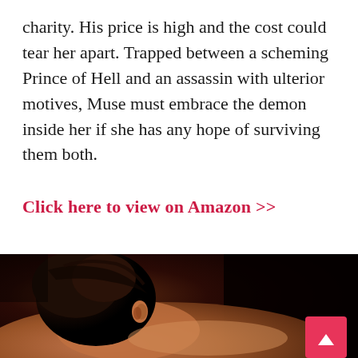charity. His price is high and the cost could tear her apart. Trapped between a scheming Prince of Hell and an assassin with ulterior motives, Muse must embrace the demon inside her if she has any hope of surviving them both.
Click here to view on Amazon >>
[Figure (photo): Close-up photo of a person lying down, showing the back of their head and bare upper back, with dark warm tones.]